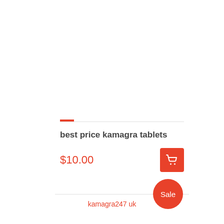best price kamagra tablets
$10.00
kamagra247 uk
Sale